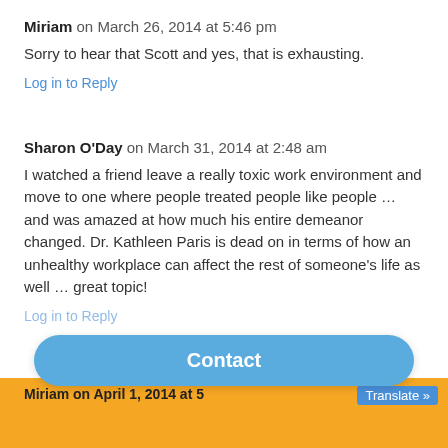Miriam on March 26, 2014 at 5:46 pm
Sorry to hear that Scott and yes, that is exhausting.
Log in to Reply
Sharon O'Day on March 31, 2014 at 2:48 am
I watched a friend leave a really toxic work environment and move to one where people treated people like people … and was amazed at how much his entire demeanor changed. Dr. Kathleen Paris is dead on in terms of how an unhealthy workplace can affect the rest of someone's life as well … great topic!
Log in to Reply
Contact
Miriam on April 1, 2014 at 5...